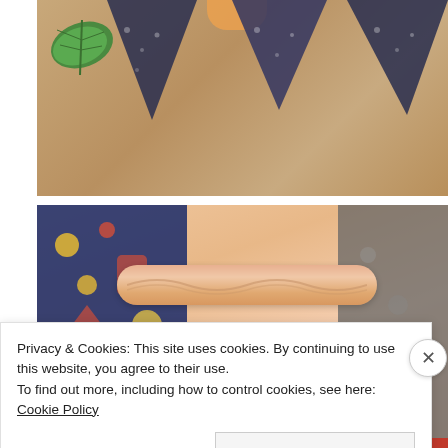[Figure (photo): Top-down photo of blue patterned fabric triangles arranged on a wooden table with a green monstera leaf in the upper left corner and an orange fabric piece visible at the top center.]
[Figure (photo): Close-up photo of peach/salmon colored fabric shorts with a ruffled elastic waistband, featuring colorful floral and abstract print panels in blue and multicolor. Dark blue patterned fabric visible on left and right sides. Laid on a wooden surface.]
Privacy & Cookies: This site uses cookies. By continuing to use this website, you agree to their use.
To find out more, including how to control cookies, see here: Cookie Policy
Close and accept